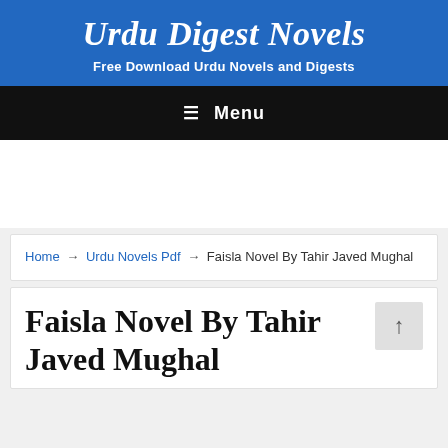Urdu Digest Novels
Free Download Urdu Novels and Digests
≡ Menu
Home → Urdu Novels Pdf → Faisla Novel By Tahir Javed Mughal
Faisla Novel By Tahir Javed Mughal